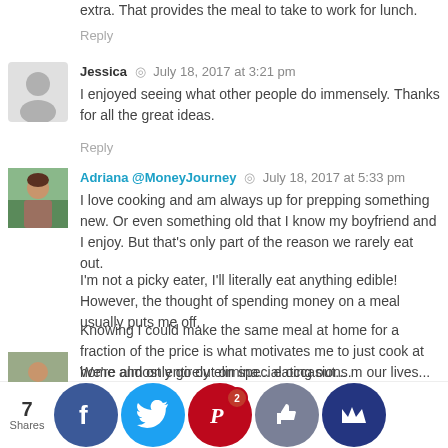extra. That provides the meal to take to work for lunch.
Reply
Jessica  ◎  July 18, 2017 at 3:21 pm
I enjoyed seeing what other people do immensely. Thanks for all the great ideas.
Reply
Adriana @MoneyJourney  ◎  July 18, 2017 at 5:33 pm
I love cooking and am always up for prepping something new. Or even something old that I know my boyfriend and I enjoy. But that's only part of the reason we rarely eat out.
I'm not a picky eater, I'll literally eat anything edible! However, the thought of spending money on a meal usually puts me off.
Knowing I could make the same meal at home for a fraction of the price is what motivates me to just cook at home and only go out on special occasions.
Reply
7 Shares
We're almost entirely elimina... eating out... m our lives...